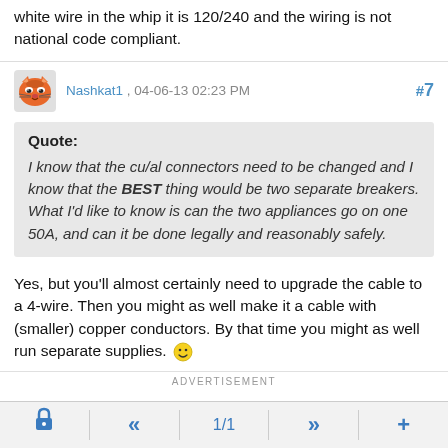white wire in the whip it is 120/240 and the wiring is not national code compliant.
Nashkat1 , 04-06-13 02:23 PM  #7
Quote: I know that the cu/al connectors need to be changed and I know that the BEST thing would be two separate breakers. What I'd like to know is can the two appliances go on one 50A, and can it be done legally and reasonably safely.
Yes, but you'll almost certainly need to upgrade the cable to a 4-wire. Then you might as well make it a cable with (smaller) copper conductors. By that time you might as well run separate supplies. 🙂
ADVERTISEMENT
🔒  «  1/1  »  +